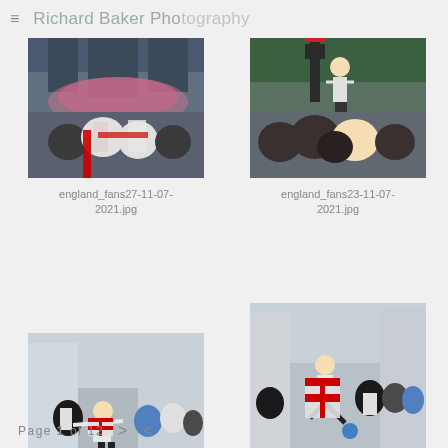≡  Richard Baker Photography
[Figure (photo): England football fans celebrating in streets with red smoke flares and St George flags]
england_fans27-11-07-2021.jpg
[Figure (photo): England fan standing on traffic light above crowd celebrating]
england_fans23-11-07-2021.jpg
[Figure (photo): England fans celebrating in street, one person with arms outstretched with St George flag]
[Figure (photo): England fan kicking football in street with others around him holding St George flag]
england_fans21-11-07-
Page 1 of 12  >  <